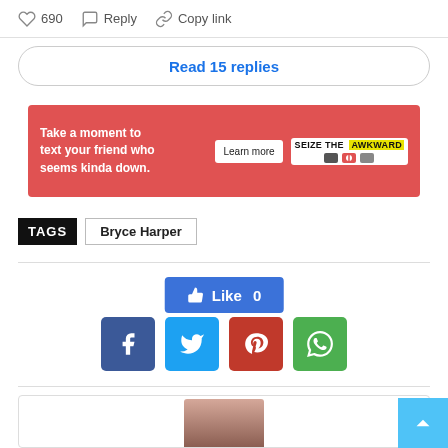690  Reply  Copy link
Read 15 replies
[Figure (other): Advertisement banner: red background, white text 'Take a moment to text your friend who seems kinda down.' with 'Learn more' button and 'SEIZE THE AWKWARD' logo]
TAGS  Bryce Harper
[Figure (other): Facebook Like button showing 'Like 0']
[Figure (other): Social sharing buttons: Facebook (blue), Twitter (light blue), Pinterest (red), WhatsApp (green)]
[Figure (photo): Partial photo of a person at the bottom of the page]